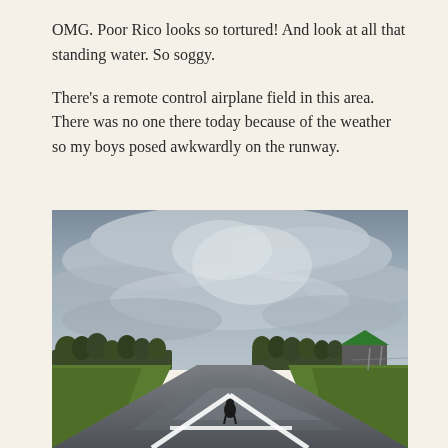OMG. Poor Rico looks so tortured! And look at all that standing water. So soggy.
There's a remote control airplane field in this area. There was no one there today because of the weather so my boys posed awkwardly on the runway.
[Figure (photo): Outdoor photo of a remote control airplane runway taken from ground level. A wet asphalt runway with white painted X markings extends toward the horizon. Green grass flanks both sides. A dog stands at the far end of the runway in the center. Overcast dramatic cloudy sky fills the upper two-thirds of the image. Trees and a green-roofed building visible in the background on the right.]